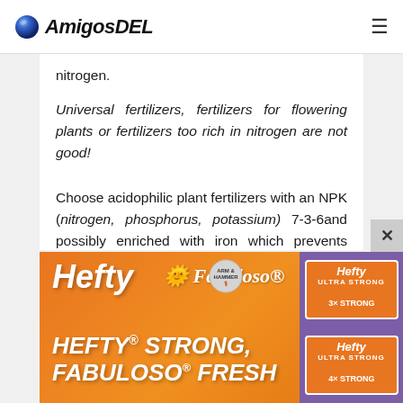AmigosDEL
nitrogen.
Universal fertilizers, fertilizers for flowering plants or fertilizers too rich in nitrogen are not good!
Choose acidophilic plant fertilizers with an NPK (nitrogen, phosphorus, potassium) 7-3-6and possibly enriched with iron which prevents chlorosis or other diseases that can cause yellowing of the leaves associated with irrigation with tap
[Figure (infographic): Hefty Fabuloso advertisement banner: orange background with 'HEFTY STRONG, FABULOSO FRESH' tagline, Hefty and Fabuloso product logos, and product packaging images on the right side in purple panel.]